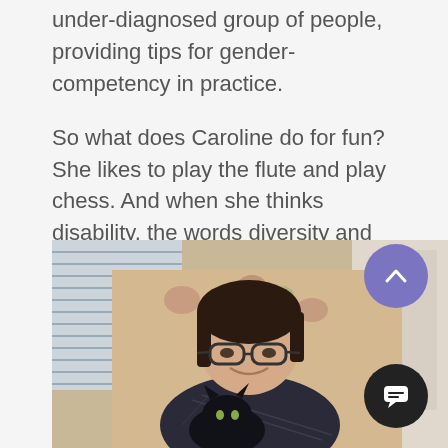under-diagnosed group of people, providing tips for gender-competency in practice.
So what does Caroline do for fun? She likes to play the flute and play chess. And when she thinks disability, the words diversity and inclusion come to mind.
[Figure (photo): Photo of a young woman with glasses, dark hair pulled back, smiling and sitting in a floral wingback chair, holding a black cat. Window blinds visible in background, light-colored wall on the right.]